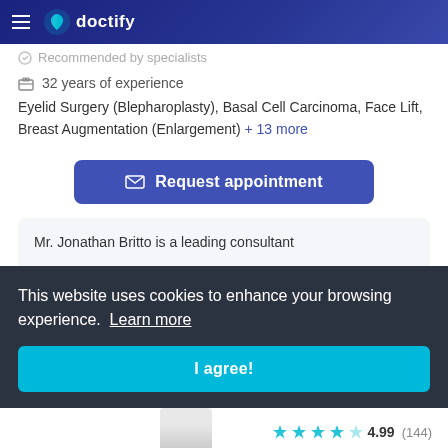doctify
Recommended by specialists
32 years of experience
Eyelid Surgery (Blepharoplasty), Basal Cell Carcinoma, Face Lift, Breast Augmentation (Enlargement) + 13 more
Request appointment
Mr. Jonathan Britto is a leading consultant
This website uses cookies to enhance your browsing experience. Learn more
I agree!
4.99 (144)